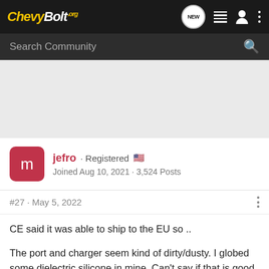ChevyBolt.org
Search Community
jefro · Registered
Joined Aug 10, 2021 · 3,524 Posts
#27 · May 5, 2022
CE said it was able to ship to the EU so ..
The port and charger seem kind of dirty/dusty. I globed some dielectric silicone in mine. Can't say if that is good or not yet. I